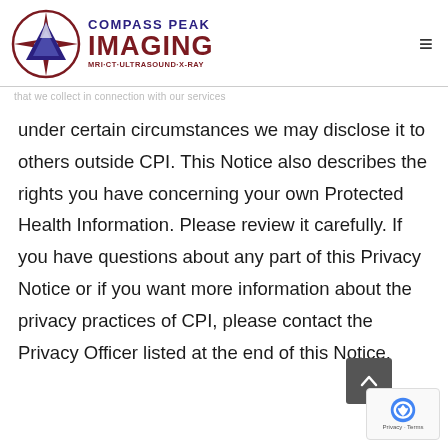[Figure (logo): Compass Peak Imaging logo with compass rose icon and text: COMPASS PEAK IMAGING, MRI·CT·ULTRASOUND·X-RAY]
under certain circumstances we may disclose it to others outside CPI. This Notice also describes the rights you have concerning your own Protected Health Information. Please review it carefully. If you have questions about any part of this Privacy Notice or if you want more information about the privacy practices of CPI, please contact the Privacy Officer listed at the end of this Notice.